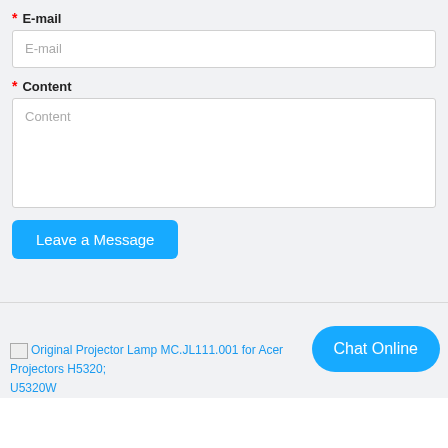* E-mail
E-mail (placeholder)
* Content
Content (placeholder)
Leave a Message
Original Projector Lamp MC.JL111.001 for Acer Projectors H5320; U5320W
Chat Online